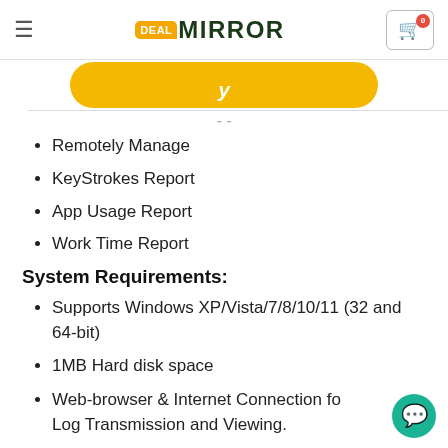DEAL MIRROR — navigation bar with hamburger menu and cart (0 items)
[Figure (other): Yellow rounded button (partially visible at top of content area)]
Remotely Manage
KeyStrokes Report
App Usage Report
Work Time Report
System Requirements:
Supports Windows XP/Vista/7/8/10/11 (32 and 64-bit)
1MB Hard disk space
Web-browser & Internet Connection for Log Transmission and Viewing.